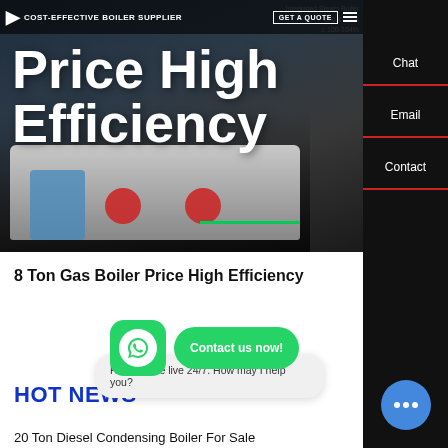[Figure (screenshot): Website hero banner for a boiler supplier showing industrial boiler machinery with dark background, navigation bar at top with logo, subtitle 'COST-EFFECTIVE BOILER SUPPLIER', GET A QUOTE button, and large white text 'Price High Efficiency' overlaid on the image.]
Price High Efficiency
8 Ton Gas Boiler Price High Efficiency
HOT NEWS
Hey, we are live 24/7. How may I help you?
20 Ton Diesel Condensing Boiler For Sale